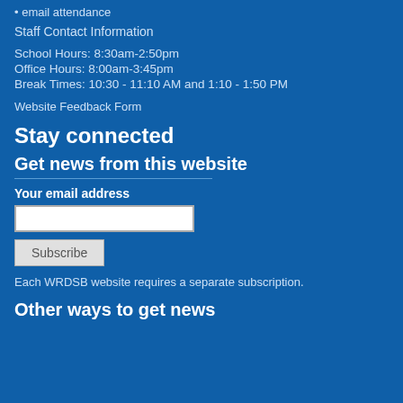email attendance
Staff Contact Information
School Hours: 8:30am-2:50pm
Office Hours: 8:00am-3:45pm
Break Times: 10:30 - 11:10 AM and 1:10 - 1:50 PM
Website Feedback Form
Stay connected
Get news from this website
Your email address
Subscribe
Each WRDSB website requires a separate subscription.
Other ways to get news